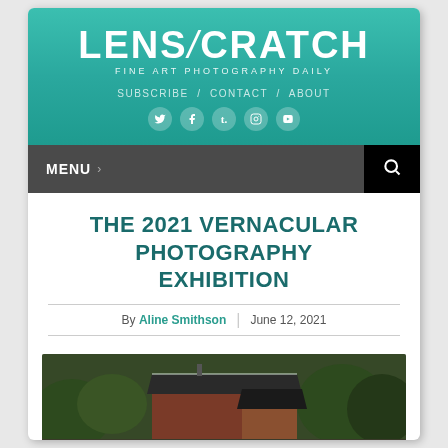[Figure (logo): LENSCRATCH logo — Fine Art Photography Daily, teal gradient background]
SUBSCRIBE / CONTACT / ABOUT
Social media icons: Twitter, Facebook, Tumblr, Instagram, RSS
MENU >
THE 2021 VERNACULAR PHOTOGRAPHY EXHIBITION
By Aline Smithson | June 12, 2021
[Figure (photo): Photograph of a small wooden shed with a dark shingled roof, surrounded by trees and shrubs]